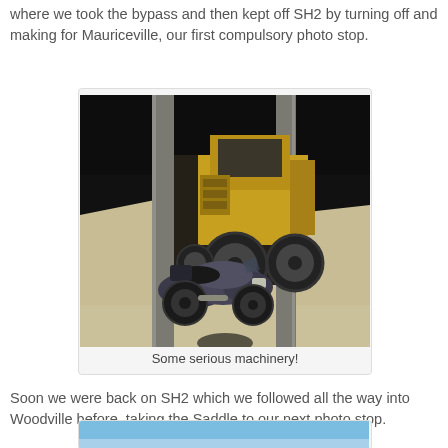where we took the bypass and then kept off SH2 by turning off and making for Mauriceville, our first compulsory photo stop.
[Figure (photo): A motorcycle parked in front of a large yellow construction vehicle/tractor inside a shed, with sandy ground and concrete pillars visible.]
Some serious machinery!
Soon we were back on SH2 which we followed all the way into Woodville before taking the Saddle to our next photo stop.
[Figure (photo): Partial view of a second photo, showing blue sky at the top of the page.]